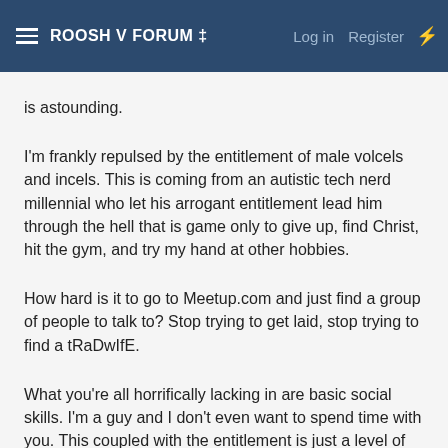ROOSH V FORUM ‡  Log in  Register
is astounding.
I'm frankly repulsed by the entitlement of male volcels and incels. This is coming from an autistic tech nerd millennial who let his arrogant entitlement lead him through the hell that is game only to give up, find Christ, hit the gym, and try my hand at other hobbies.
How hard is it to go to Meetup.com and just find a group of people to talk to? Stop trying to get laid, stop trying to find a tRaDwIfE.
What you're all horrifically lacking in are basic social skills. I'm a guy and I don't even want to spend time with you. This coupled with the entitlement is just a level of cringe I can't even begin to fathom.
Nothing has changed with zoomers beyond a fundamental lack of conversation skills. If I can manage to engage zoomer boys and girls for hours on end on all sorts of topics that interest